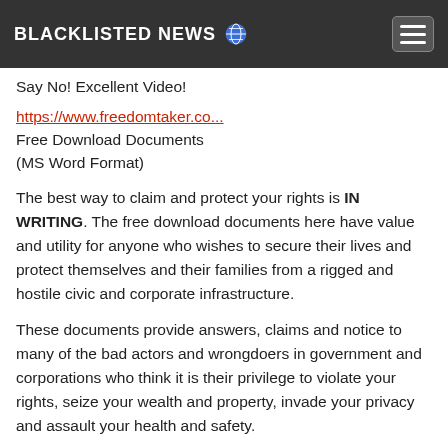BLACKLISTED NEWS 🌐
Say No! Excellent Video!
https://www.freedomtaker.co...
Free Download Documents
(MS Word Format)
The best way to claim and protect your rights is IN WRITING. The free download documents here have value and utility for anyone who wishes to secure their lives and protect themselves and their families from a rigged and hostile civic and corporate infrastructure.
These documents provide answers, claims and notice to many of the bad actors and wrongdoers in government and corporations who think it is their privilege to violate your rights, seize your wealth and property, invade your privacy and assault your health and safety.
1 ∧ | ∨
Drake → Berserker